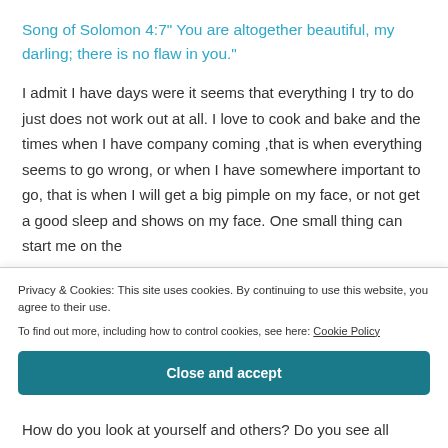Song of Solomon 4:7" You are altogether beautiful, my darling; there is no flaw in you."
I admit I have days were it seems that everything I try to do just does not work out at all. I love to cook and bake and the times when I have company coming ,that is when everything seems to go wrong, or when I have somewhere important to go, that is when I will get a big pimple on my face, or not get a good sleep and shows on my face. One small thing can start me on the
Privacy & Cookies: This site uses cookies. By continuing to use this website, you agree to their use.
To find out more, including how to control cookies, see here: Cookie Policy
Close and accept
How do you look at yourself and others? Do you see all